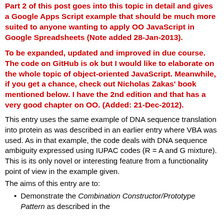Part 2 of this post goes into this topic in detail and gives a Google Apps Script example that should be much more suited to anyone wanting to apply OO JavaScript in Google Spreadsheets (Note added 28-Jan-2013).
To be expanded, updated and improved in due course. The code on GitHub is ok but I would like to elaborate on the whole topic of object-oriented JavaScript. Meanwhile, if you get a chance, check out Nicholas Zakas' book mentioned below. I have the 2nd edition and that has a very good chapter on OO. (Added: 21-Dec-2012).
This entry uses the same example of DNA sequence translation into protein as was described in an earlier entry where VBA was used. As in that example, the code deals with DNA sequence ambiguity expressed using IUPAC codes (R = A and G mixture). This is its only novel or interesting feature from a functionality point of view in the example given.
The aims of this entry are to:
Demonstrate the Combination Constructor/Prototype Pattern as described in the